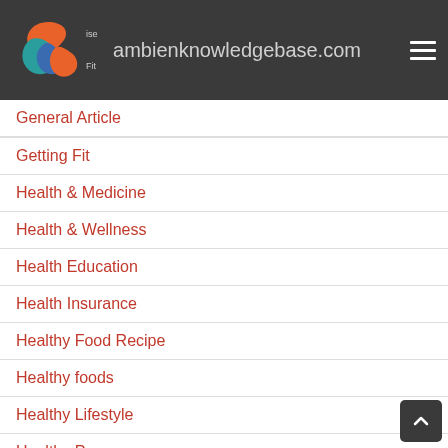ambienknowledgebase.com
General Article
Getting Fit
Health & Medicine
Health & Wellness
Health Education
Health Insurance
Healthy Food Recipe
Healthy foods
Healthy Lifestyle
Healthy Programs
High Protein Diet